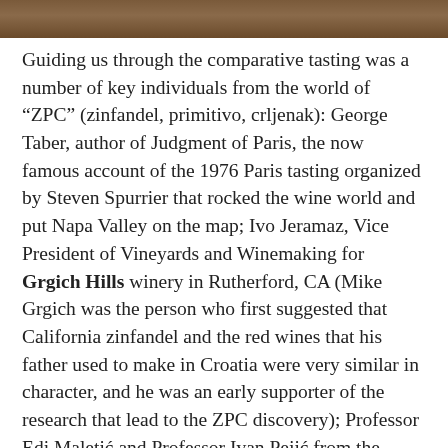[Figure (photo): Photo strip at top of page showing people at a comparative tasting event]
Guiding us through the comparative tasting was a number of key individuals from the world of “ZPC” (zinfandel, primitivo, crljenak): George Taber, author of Judgment of Paris, the now famous account of the 1976 Paris tasting organized by Steven Spurrier that rocked the wine world and put Napa Valley on the map; Ivo Jeramaz, Vice President of Vineyards and Winemaking for Grgich Hills winery in Rutherford, CA (Mike Grgich was the person who first suggested that California zinfandel and the red wines that his father used to make in Croatia were very similar in character, and he was an early supporter of the research that lead to the ZPC discovery); Professor Edi Maletić and Professor Ivan Pejić from the University of Agriculture in Zagreb, two of the leading researchers behind the ZPC discovery;